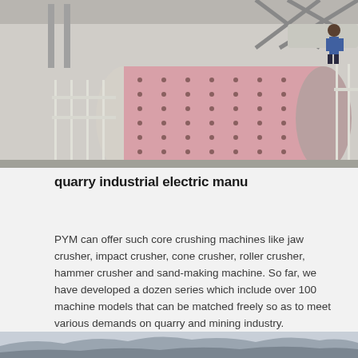[Figure (photo): Industrial ball mill machinery in a factory/plant setting. A large pink/red cylindrical drum with bolted flanges is the central subject. White metal railings and structural supports surround it. Industrial pipes and supports visible in background. A worker visible in upper right corner.]
quarry industrial electric manu
PYM can offer such core crushing machines like jaw crusher, impact crusher, cone crusher, roller crusher, hammer crusher and sand-making machine. So far, we have developed a dozen series which include over 100 machine models that can be matched freely so as to meet various demands on quarry and mining industry.
[Figure (photo): Partial view of a mountain landscape with hazy mountains in the background, misty/foggy atmosphere.]